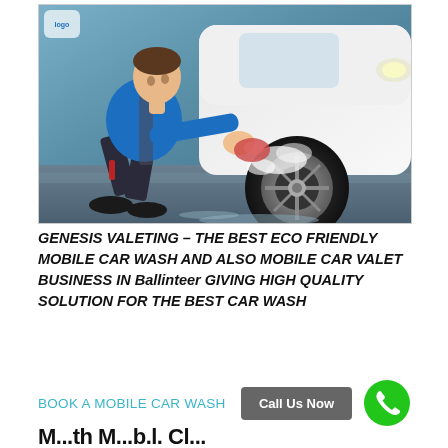[Figure (photo): A man in a blue jacket crouching down and scrubbing the wheel/tyre of a white car with a sponge at a car wash, with soapy water visible on the ground.]
GENESIS VALETING – THE BEST ECO FRIENDLY MOBILE CAR WASH AND ALSO MOBILE CAR VALET BUSINESS IN Ballinteer GIVING HIGH QUALITY SOLUTION FOR THE BEST CAR WASH
BOOK A MOBILE CAR WASH
Call Us Now